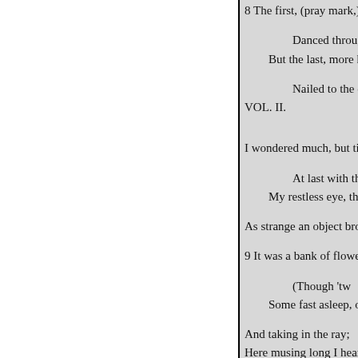8 The first, (pray mark,) as
Danced through t
But the last, more heavy

Nailed to the centre
VOL. II.

I wondered much, but tired

At last with though
My restless eye, that still

As strange an object broug

9 It was a bank of flowers, wh

(Though 'tw
Some fast asleep, others l

And taking in the ray;
Here musing long I heard

A rushing wind,